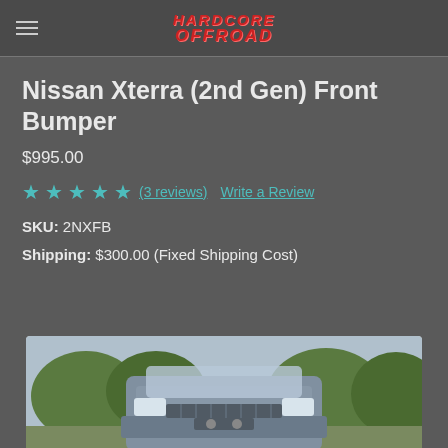Hardcore Offroad
Nissan Xterra (2nd Gen) Front Bumper
$995.00
★★★★★ (3 reviews)  Write a Review
SKU: 2NXFB
Shipping: $300.00 (Fixed Shipping Cost)
[Figure (photo): Photo of Nissan Xterra with front bumper installed, front view of vehicle outdoors with trees in background]